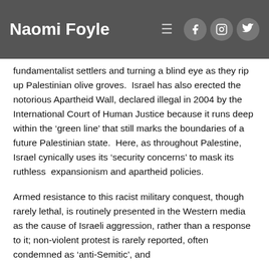Naomi Foyle
fundamentalist settlers and turning a blind eye as they rip up Palestinian olive groves.  Israel has also erected the notorious Apartheid Wall, declared illegal in 2004 by the International Court of Human Justice because it runs deep within the ‘green line’ that still marks the boundaries of a future Palestinian state.  Here, as throughout Palestine, Israel cynically uses its ‘security concerns’ to mask its ruthless  expansionism and apartheid policies.
Armed resistance to this racist military conquest, though rarely lethal, is routinely presented in the Western media as the cause of Israeli aggression, rather than a response to it; non-violent protest is rarely reported, often condemned as ‘anti-Semitic’, and